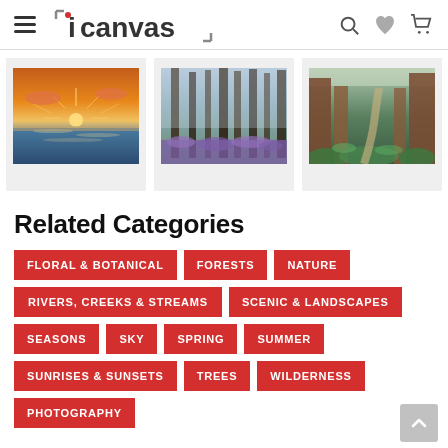iCanvas navigation header with hamburger menu, logo, search, wishlist, and cart icons
[Figure (photo): Three canvas art product images in a row: a sunset over the ocean, a misty forest with purple flowers, and tall redwood trees with a path]
Related Categories
FLORAL & BOTANICAL
FORESTS
NATURE
RIVERS, CREEKS & STREAMS
SCENIC & LANDSCAPES
SEASONS
SKY
SPRING
SUMMER
SUNRISES & SUNSETS
TREES
WILDERNESS
PHOTOGRAPHY